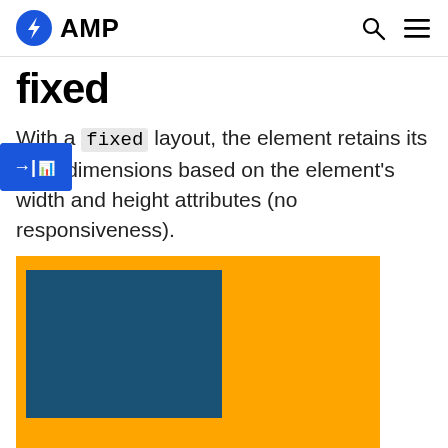AMP
fixed
With a fixed layout, the element retains its fixed dimensions based on the element's width and height attributes (no responsiveness).
[Figure (illustration): Orange rectangle with a blue rectangle in the upper-left corner, demonstrating a fixed layout element that does not resize responsively.]